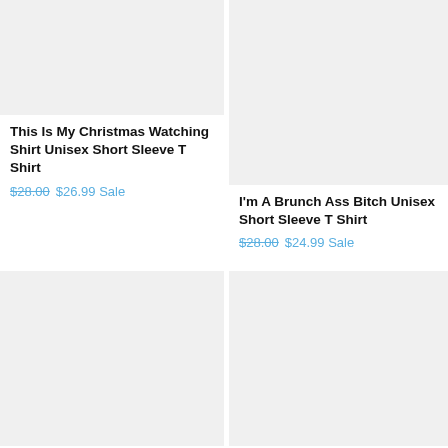[Figure (photo): Product image placeholder for Christmas t-shirt, light gray background]
This Is My Christmas Watching Shirt Unisex Short Sleeve T Shirt
$28.00  $26.99 Sale
[Figure (photo): Product image placeholder for Brunch t-shirt, light gray background]
I'm A Brunch Ass Bitch Unisex Short Sleeve T Shirt
$28.00  $24.99 Sale
[Figure (photo): Product image placeholder, light gray background, bottom left]
[Figure (photo): Product image placeholder, light gray background, bottom right]